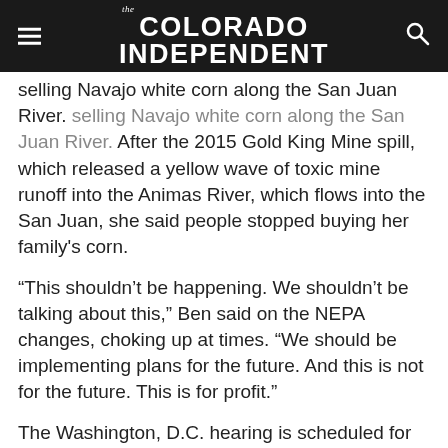the COLORADO INDEPENDENT
selling Navajo white corn along the San Juan River. After the 2015 Gold King Mine spill, which released a yellow wave of toxic mine runoff into the Animas River, which flows into the San Juan, she said people stopped buying her family's corn.
“This shouldn’t be happening. We shouldn’t be talking about this,” Ben said on the NEPA changes, choking up at times. “We should be implementing plans for the future. And this is not for the future. This is for profit.”
The Washington, D.C. hearing is scheduled for Feb. 25. Public comments are due March 10.
This story was updated on Feb. 12 to clarify the